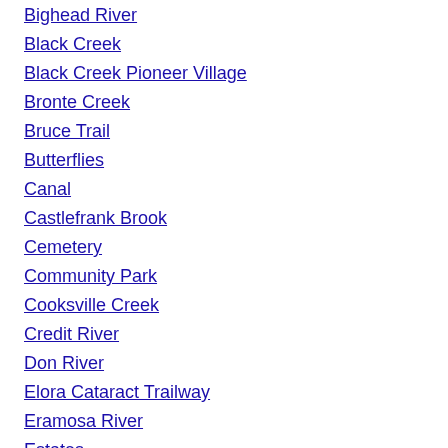Bighead River
Black Creek
Black Creek Pioneer Village
Bronte Creek
Bruce Trail
Butterflies
Canal
Castlefrank Brook
Cemetery
Community Park
Cooksville Creek
Credit River
Don River
Elora Cataract Trailway
Eramosa River
Estates
Etobicoke Creek
Garrison Creek
Ghost Town